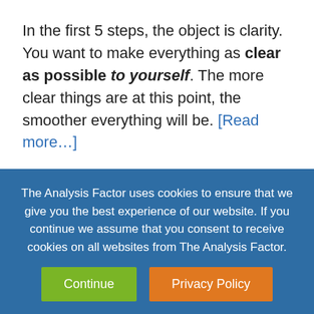In the first 5 steps, the object is clarity. You want to make everything as clear as possible to yourself. The more clear things are at this point, the smoother everything will be. [Read more…]
Tagged With: ANOVA, linear regression, regression models, statistical model
Related Posts
The Analysis Factor uses cookies to ensure that we give you the best experience of our website. If you continue we assume that you consent to receive cookies on all websites from The Analysis Factor.